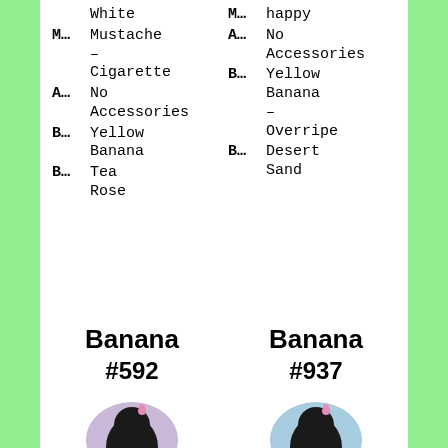White
M... Mustache – Cigarette
A... No Accessories
B... Yellow Banana
B... Tea Rose
M... happy
A... No Accessories
B... Yellow Banana – Overripe
B... Desert Sand
Banana #592
Banana #937
[Figure (illustration): Silhouette of a head on a purple/lavender oval background]
[Figure (illustration): Silhouette of a head on a light blue oval background]